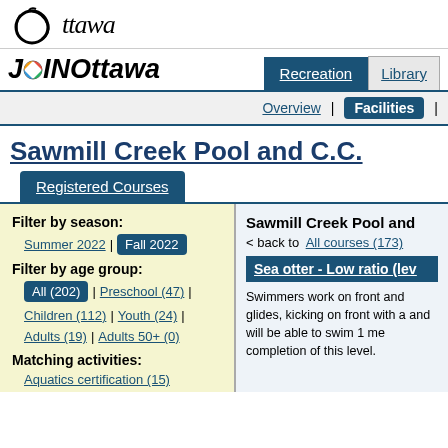Ottawa logo
JoINOttawa
Recreation | Library
Overview | Facilities |
Sawmill Creek Pool and C.C.
Registered Courses
Filter by season:
Summer 2022 | Fall 2022
Filter by age group:
All (202) | Preschool (47) | Children (112) | Youth (24) | Adults (19) | Adults 50+ (0)
Matching activities:
Aquatics certification (15)
First aid (11)
Lifeguard (1)
Sawmill Creek Pool and
< back to  All courses (173)
Sea otter - Low ratio (lev
Swimmers work on front and glides, kicking on front with a and will be able to swim 1 me completion of this level.